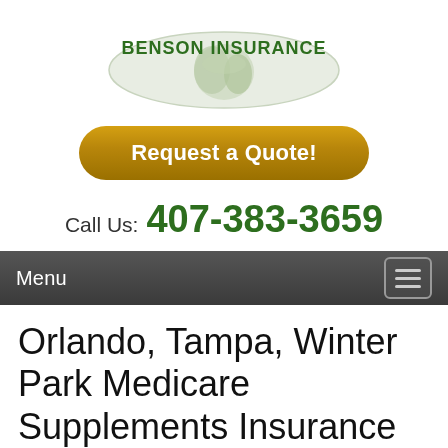[Figure (logo): Benson Insurance logo: oval shape with a world globe graphic and bold green text 'BENSON INSURANCE']
[Figure (other): Yellow-gold rounded button with white bold text 'Request a Quote!']
Call Us: 407-383-3659
Menu
Orlando, Tampa, Winter Park Medicare Supplements Insurance